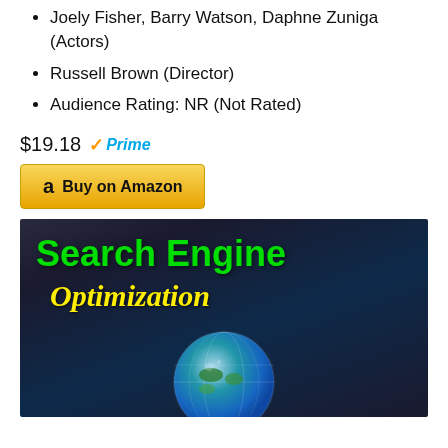Joely Fisher, Barry Watson, Daphne Zuniga (Actors)
Russell Brown (Director)
Audience Rating: NR (Not Rated)
$19.18 Prime
Buy on Amazon
[Figure (illustration): Search Engine Optimization banner image with green bold text 'Search Engine' and yellow italic text 'Optimization' on a dark blue/grey background with a globe at the bottom]